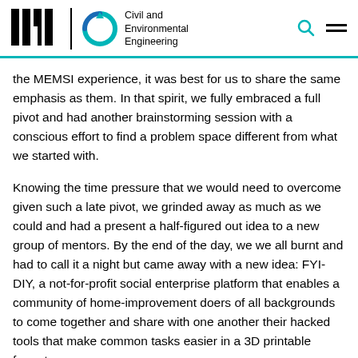MIT Civil and Environmental Engineering
the MEMSI experience, it was best for us to share the same emphasis as them. In that spirit, we fully embraced a full pivot and had another brainstorming session with a conscious effort to find a problem space different from what we started with.
Knowing the time pressure that we would need to overcome given such a late pivot, we grinded away as much as we could and had a present a half-figured out idea to a new group of mentors. By the end of the day, we we all burnt and had to call it a night but came away with a new idea: FYI-DIY, a not-for-profit social enterprise platform that enables a community of home-improvement doers of all backgrounds to come together and share with one another their hacked tools that make common tasks easier in a 3D printable format.